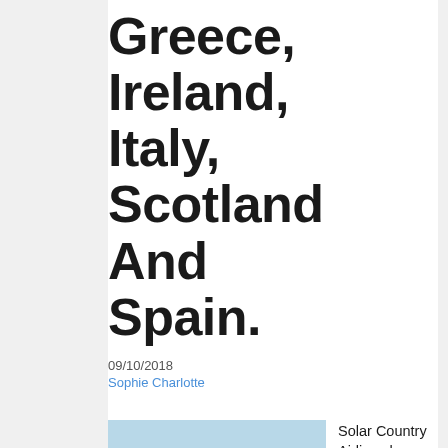Greece, Ireland, Italy, Scotland And Spain.
09/10/2018
Sophie Charlotte
[Figure (photo): A beach scene with a dark rolling suitcase topped with a straw hat in the foreground, and two people in swimwear walking on the sandy beach in the background near the ocean.]
Solar Country Airlines has been offering nice trip